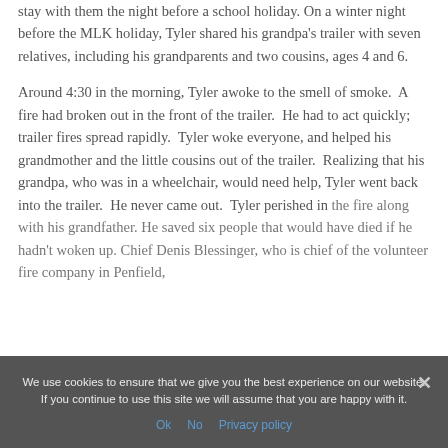stay with them the night before a school holiday. On a winter night before the MLK holiday, Tyler shared his grandpa's trailer with seven relatives, including his grandparents and two cousins, ages 4 and 6.
Around 4:30 in the morning, Tyler awoke to the smell of smoke. A fire had broken out in the front of the trailer. He had to act quickly; trailer fires spread rapidly. Tyler woke everyone, and helped his grandmother and the little cousins out of the trailer. Realizing that his grandpa, who was in a wheelchair, would need help, Tyler went back into the trailer. He never came out. Tyler perished in the fire along with his grandfather. He saved six people that would have died if he hadn't woken up. Chief Denis Blessinger, who is chief of the volunteer fire company in Penfield,
We use cookies to ensure that we give you the best experience on our website. If you continue to use this site we will assume that you are happy with it.
Ok  No  Privacy policy